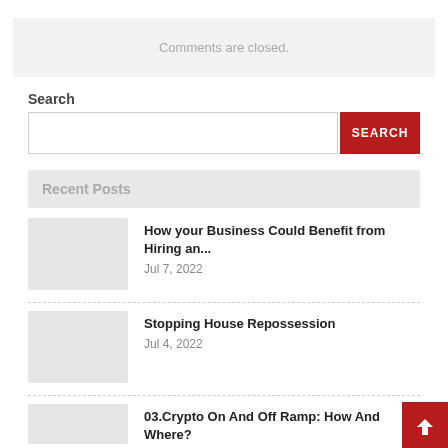Comments are closed.
Search
Recent Posts
How your Business Could Benefit from Hiring an... Jul 7, 2022
Stopping House Repossession Jul 4, 2022
03.Crypto On And Off Ramp: How And Where?